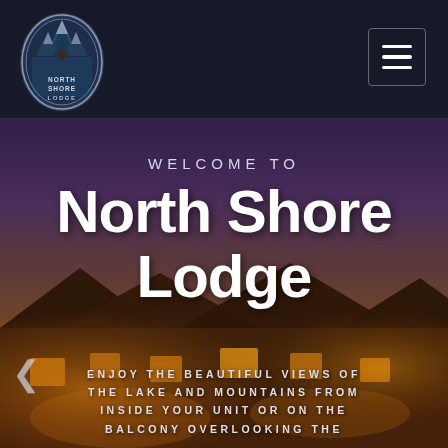[Figure (photo): Hero background image showing North Shore Lodge building with warm amber lighting at dusk, purple/dark night sky gradient, mountains and lake setting]
[Figure (logo): North Shore Lodge oval logo with trees/forest silhouette and text reading NORTH SHORE LODGE in circular badge format, white and blue]
WELCOME TO
North Shore Lodge
ENJOY THE BEAUTIFUL VIEWS OF THE LAKE AND MOUNTAINS FROM INSIDE YOUR UNIT OR ON THE BALCONY OVERLOOKING THE